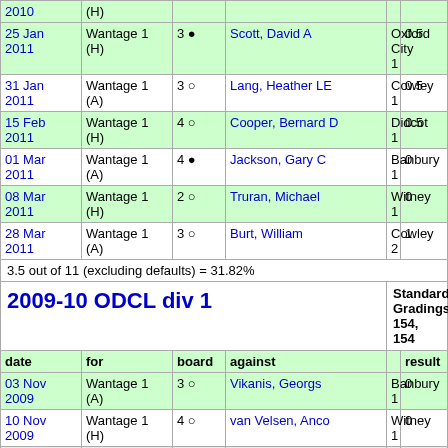| date | for | board | against |  |  | result |
| --- | --- | --- | --- | --- | --- | --- |
| 2010 | (H) |  |  |  |  |  |
| 25 Jan 2011 | Wantage 1 (H) | 3 ● | Scott, David A | 173 | Oxford City 1 | 0.5 |
| 31 Jan 2011 | Wantage 1 (A) | 3 ○ | Lang, Heather LE | 169 | Cowley 1 | 0.5 |
| 15 Feb 2011 | Wantage 1 (H) | 4 ○ | Cooper, Bernard D | 146 | Didcot 1 | 0.5 |
| 01 Mar 2011 | Wantage 1 (A) | 4 ● | Jackson, Gary C | 153 | Banbury 1 | 0 |
| 08 Mar 2011 | Wantage 1 (H) | 2 ○ | Truran, Michael | 191 | Witney 1 | 0 |
| 28 Mar 2011 | Wantage 1 (A) | 3 ○ | Burt, William | 168 | Cowley 2 | 1 |
3.5 out of 11 (excluding defaults) = 31.82%
2009-10 ODCL div 1
Standard Gradings 154, 154
| date | for | board | against | result |
| --- | --- | --- | --- | --- |
| 03 Nov 2009 | Wantage 1 (A) | 3 ○ | Vikanis, Georgs | 160 | Banbury 1 | 0 |
| 10 Nov 2009 | Wantage 1 (H) | 4 ○ | van Velsen, Anco | 145 | Witney 1 | 0 |
| 15 Dec 2009 | Wantage 1 (H) | 4 ○ | Yates, John O | 152 | Oxford City 1 | 0.5 |